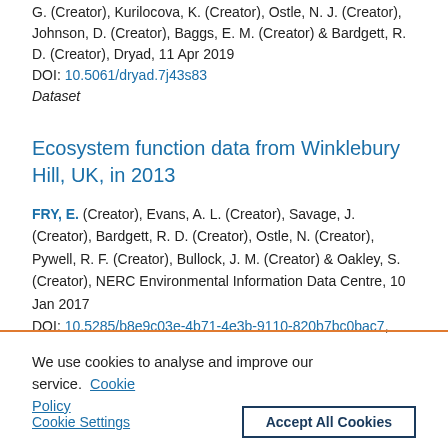G. (Creator), Kurilосоva, K. (Creator), Ostle, N. J. (Creator), Johnson, D. (Creator), Baggs, E. M. (Creator) & Bardgett, R. D. (Creator), Dryad, 11 Apr 2019
DOI: 10.5061/dryad.7j43s83
Dataset
Ecosystem function data from Winklebury Hill, UK, in 2013
FRY, E. (Creator), Evans, A. L. (Creator), Savage, J. (Creator), Bardgett, R. D. (Creator), Ostle, N. (Creator), Pywell, R. F. (Creator), Bullock, J. M. (Creator) & Oakley, S. (Creator), NERC Environmental Information Data Centre, 10 Jan 2017
DOI: 10.5285/b8e9c03e-4b71-4e3b-9110-820b7bc0bac7, https://catalogue.ceh.ac.uk/documents/b8e9c03e-4b71-4e3b-9110-820b7bc0bac7
We use cookies to analyse and improve our service. Cookie Policy